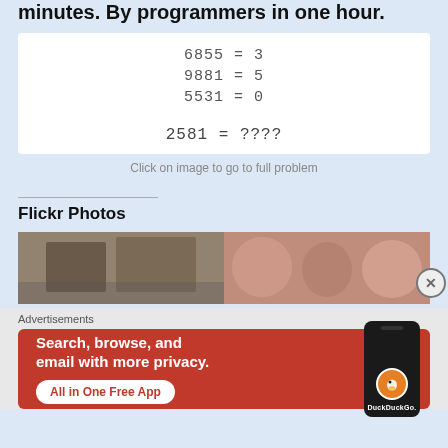minutes. By programmers in one hour.
[Figure (other): Puzzle box showing equations: 6855 = 3, 9881 = 5, 5531 = 0, 2581 = ????]
Click on image to go to full problem
Flickr Photos
[Figure (photo): Two Flickr photos side by side showing outdoor scenes]
Advertisements
[Figure (screenshot): DuckDuckGo advertisement: Search, browse, and email with more privacy. All in One Free App]